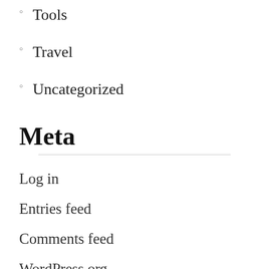Tools
Travel
Uncategorized
Meta
Log in
Entries feed
Comments feed
WordPress.org